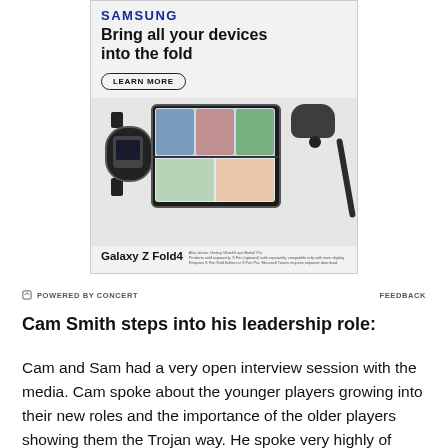[Figure (illustration): Samsung advertisement banner for Galaxy Z Fold4. Shows 'SAMSUNG' logo at top, headline 'Bring all your devices into the fold', a 'LEARN MORE' button, product images including a Galaxy Watch, Galaxy Z Fold4 (showing a video call), Galaxy Buds2 Pro, and stylus. Footer shows 'Galaxy Z Fold4' product name with small disclaimer text.]
POWERED BY CONCERT    FEEDBACK
Cam Smith steps into his leadership role:
Cam and Sam had a very open interview session with the media. Cam spoke about the younger players growing into their new roles and the importance of the older players showing them the Trojan way. He spoke very highly of many of his teammates and demonstrated a lot of confidence and trust in his